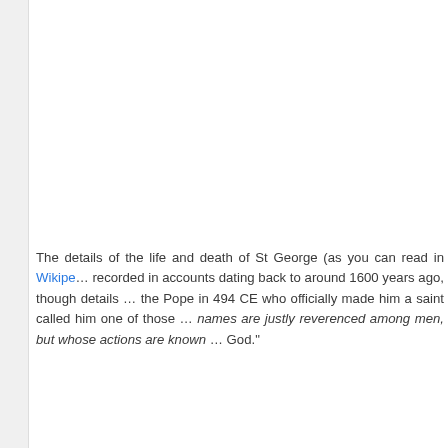The details of the life and death of St George (as you can read in Wikipedia) are recorded in accounts dating back to around 1600 years ago, though details are scarce; the Pope in 494 CE who officially made him a saint called him one of those "whose names are justly reverenced among men, but whose actions are known only to God."